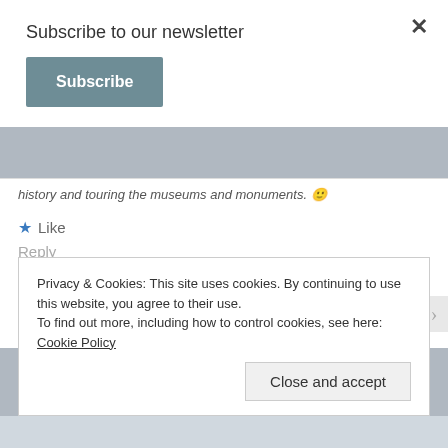Subscribe to our newsletter
Subscribe
history and touring the museums and monuments. 🙂
★ Like
Reply
Mikal says:
March 21, 2019 at 2:23 pm
No! You aren't the only bookworm that thinks about
Privacy & Cookies: This site uses cookies. By continuing to use this website, you agree to their use.
To find out more, including how to control cookies, see here: Cookie Policy
Close and accept